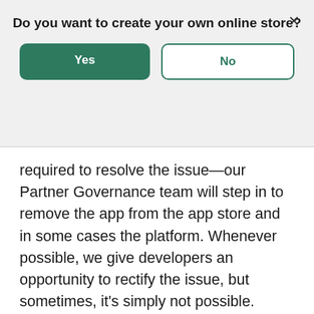Do you want to create your own online store?
[Figure (screenshot): A modal dialog with two buttons: a green 'Yes' button and a white/outlined 'No' button, with an X close button in the top right corner.]
required to resolve the issue—our Partner Governance team will step in to remove the app from the app store and in some cases the platform. Whenever possible, we give developers an opportunity to rectify the issue, but sometimes, it's simply not possible.
As part of our ongoing commitment to quality, we sometimes remove cohorts of apps that aren't meeting our primary goals of trust and integrity. We recognize that this results in temporary disruptions to merchants, but is